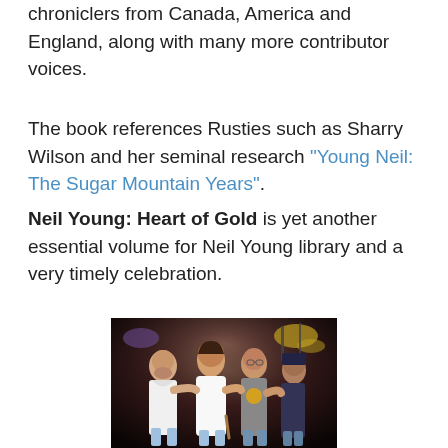chroniclers from Canada, America and England, along with many more contributor voices.
The book references Rusties such as Sharry Wilson and her seminal research "Young Neil: The Sugar Mountain Years".
Neil Young: Heart of Gold is yet another essential volume for Neil Young library and a very timely celebration.
[Figure (photo): Group photo of four people on stage, arms around each other, smiling and laughing, concert setting with drum kit visible in background]